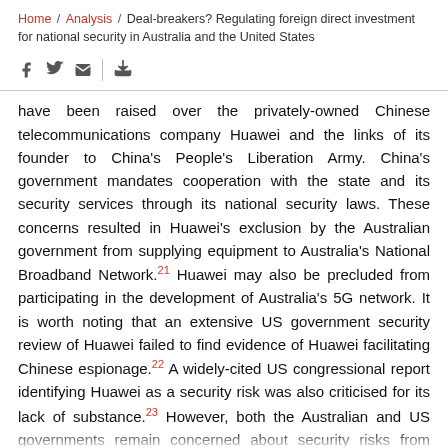Home / Analysis / Deal-breakers? Regulating foreign direct investment for national security in Australia and the United States
have been raised over the privately-owned Chinese telecommunications company Huawei and the links of its founder to China's People's Liberation Army. China's government mandates cooperation with the state and its security services through its national security laws. These concerns resulted in Huawei's exclusion by the Australian government from supplying equipment to Australia's National Broadband Network.[21] Huawei may also be precluded from participating in the development of Australia's 5G network. It is worth noting that an extensive US government security review of Huawei failed to find evidence of Huawei facilitating Chinese espionage.[22] A widely-cited US congressional report identifying Huawei as a security risk was also criticised for its lack of substance.[23] However, both the Australian and US governments remain concerned about security risks from Huawei.